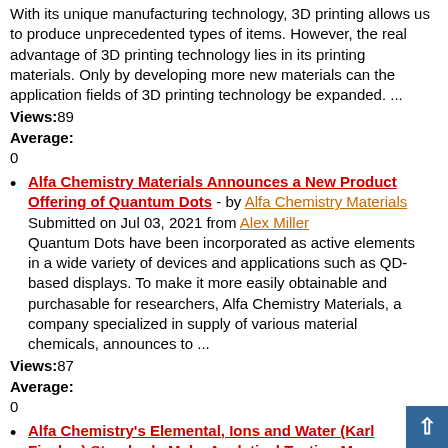With its unique manufacturing technology, 3D printing allows us to produce unprecedented types of items. However, the real advantage of 3D printing technology lies in its printing materials. Only by developing more new materials can the application fields of 3D printing technology be expanded. ...
Views:89
Average:
0
Alfa Chemistry Materials Announces a New Product Offering of Quantum Dots - by Alfa Chemistry Materials
Submitted on Jul 03, 2021 from Alex Miller
Quantum Dots have been incorporated as active elements in a wide variety of devices and applications such as QD-based displays. To make it more easily obtainable and purchasable for researchers, Alfa Chemistry Materials, a company specialized in supply of various material chemicals, announces to ...
Views:87
Average:
0
Alfa Chemistry's Elemental, Ions and Water (Karl Fischer) Standards Make Analytical Testing More Accurate and Easier - by Alfa Chemistry
Submitted on Jul 03, 2021 from Alex Miller
To further diversify and enrich the supply of analytical standards, Alfa Chemistry recently announced to add a new product line of elemental, ions and water (Karl Fischer) standards to its analytical standards, supplying anions and cations standards, elemental &